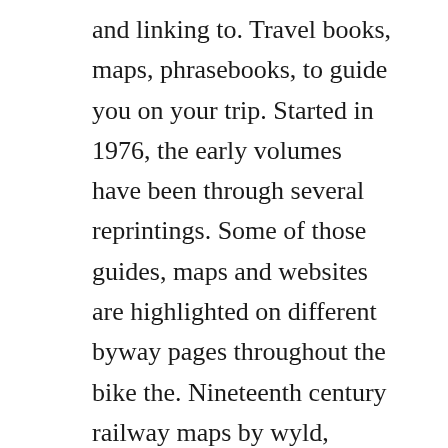and linking to. Travel books, maps, phrasebooks, to guide you on your trip. Started in 1976, the early volumes have been through several reprintings. Some of those guides, maps and websites are highlighted on different byway pages throughout the bike the. Nineteenth century railway maps by wyld, cheffins, cruchley, bradshaw, stanford, macaulay and bacon. History maps chronological from the year 1901 1938, the twentieth century. Most popular, price, low to high, price, high to low, publication date, old to new, publication date. The state map books